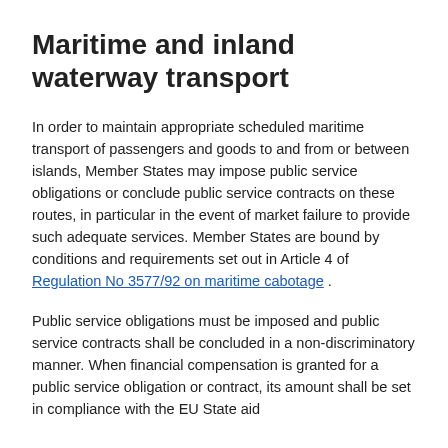Maritime and inland waterway transport
In order to maintain appropriate scheduled maritime transport of passengers and goods to and from or between islands, Member States may impose public service obligations or conclude public service contracts on these routes, in particular in the event of market failure to provide such adequate services. Member States are bound by conditions and requirements set out in Article 4 of Regulation No 3577/92 on maritime cabotage .
Public service obligations must be imposed and public service contracts shall be concluded in a non-discriminatory manner. When financial compensation is granted for a public service obligation or contract, its amount shall be set in compliance with the EU State aid